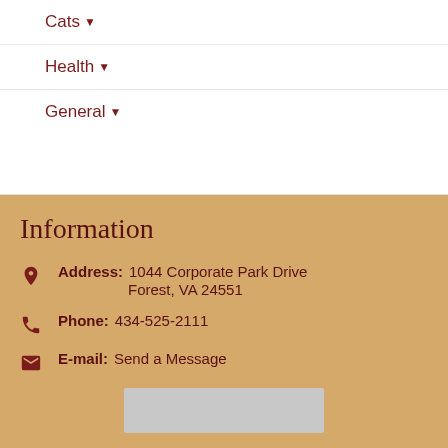Cats ▾
Health ▾
General ▾
Information
Address: 1044 Corporate Park Drive Forest, VA 24551
Phone: 434-525-2111
E-mail: Send a Message